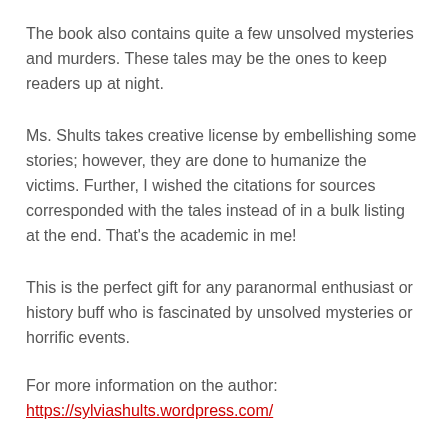The book also contains quite a few unsolved mysteries and murders. These tales may be the ones to keep readers up at night.
Ms. Shults takes creative license by embellishing some stories; however, they are done to humanize the victims. Further, I wished the citations for sources corresponded with the tales instead of in a bulk listing at the end. That's the academic in me!
This is the perfect gift for any paranormal enthusiast or history buff who is fascinated by unsolved mysteries or horrific events.
For more information on the author:
https://sylviashults.wordpress.com/